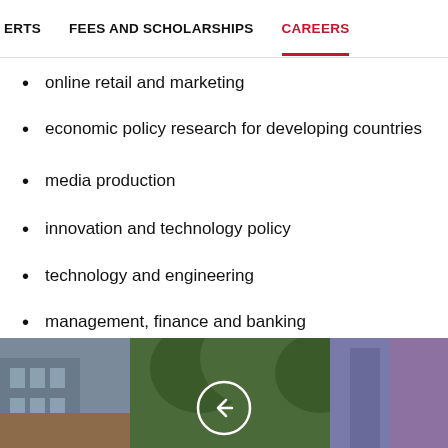ERTS   FEES AND SCHOLARSHIPS   CAREERS
online retail and marketing
economic policy research for developing countries
media production
innovation and technology policy
technology and engineering
management, finance and banking
the Civil Service
teaching and academic research.
[Figure (photo): Outdoor campus scene with trees, buildings and a person with a white arrow overlay]